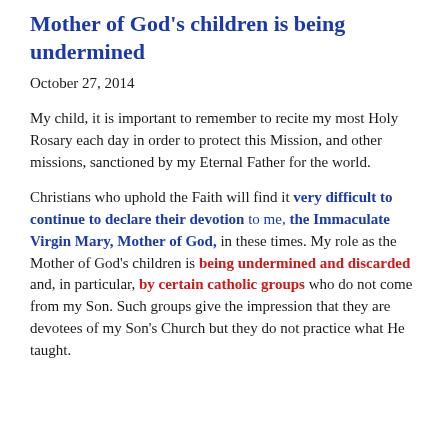Mother of God's children is being undermined
October 27, 2014
My child, it is important to remember to recite my most Holy Rosary each day in order to protect this Mission, and other missions, sanctioned by my Eternal Father for the world.
Christians who uphold the Faith will find it very difficult to continue to declare their devotion to me, the Immaculate Virgin Mary, Mother of God, in these times. My role as the Mother of God's children is being undermined and discarded and, in particular, by certain catholic groups who do not come from my Son. Such groups give the impression that they are devotees of my Son's Church but they do not practice what He taught.